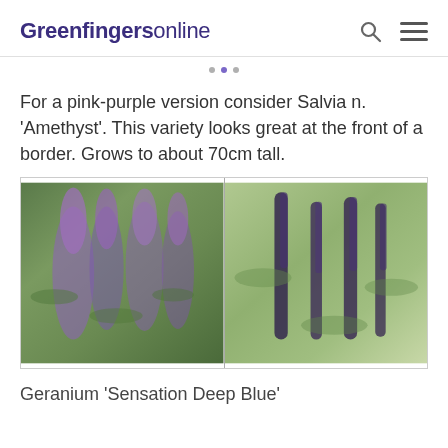Greenfingersonline
For a pink-purple version consider Salvia n. 'Amethyst'. This variety looks great at the front of a border. Grows to about 70cm tall.
[Figure (photo): Two side-by-side photos of flowering plants: left shows purple-pink salvia/agastache-type blooms with green foliage; right shows tall dark purple salvia spikes against green leafy background.]
Geranium 'Sensation Deep Blue'